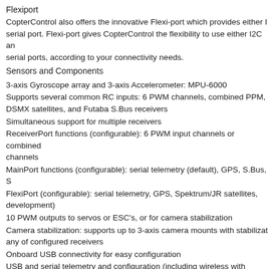Flexiport
CopterControl also offers the innovative Flexi-port which provides either I2C or serial port. Flexi-port gives CopterControl the flexibility to use either I2C and serial ports, according to your connectivity needs.
Sensors and Components
3-axis Gyroscope array and 3-axis Accelerometer: MPU-6000
Supports several common RC inputs: 6 PWM channels, combined PPM, DSMX satellites, and Futaba S.Bus receivers
Simultaneous support for multiple receivers
ReceiverPort functions (configurable): 6 PWM input channels or combined channels
MainPort functions (configurable): serial telemetry (default), GPS, S.Bus, S
FlexiPort (configurable): serial telemetry, GPS, Spektrum/JR satellites, development)
10 PWM outputs to servos or ESC's, or for camera stabilization
Camera stabilization: supports up to 3-axis camera mounts with stabilization any of configured receivers
Onboard USB connectivity for easy configuration
USB and serial telemetry and configuration (including wireless with optional)
Supported by powerful OpenPilot GCS
4 Mbit onboard memory
3C Quaternion based complementary filter running at 500Hz
Related